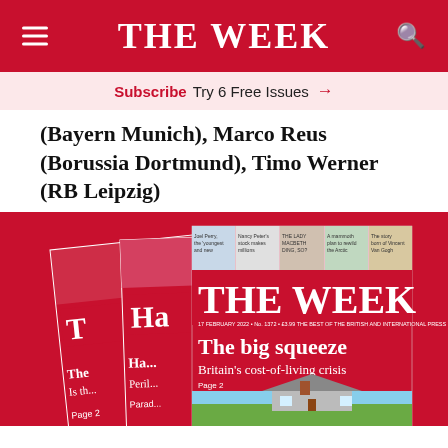THE WEEK
Subscribe  Try 6 Free Issues  →
(Bayern Munich), Marco Reus (Borussia Dortmund), Timo Werner (RB Leipzig)
[Figure (photo): Three stacked issues of The Week magazine on a red background. The front cover shows 'The big squeeze — Britain's cost-of-living crisis'.]